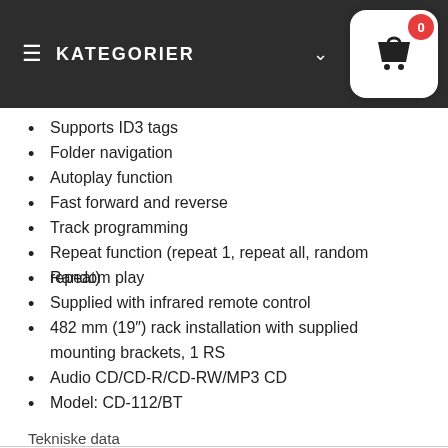KATEGORIER
Supports ID3 tags
Folder navigation
Autoplay function
Fast forward and reverse
Track programming
Repeat function (repeat 1, repeat all, random repeat)
Random play
Supplied with infrared remote control
482 mm (19") rack installation with supplied mounting brackets, 1 RS
Audio CD/CD-R/CD-RW/MP3 CD
Model: CD-112/BT
Tekniske data
| Description |  |
| --- | --- |
| Description | CD and MP3 player |